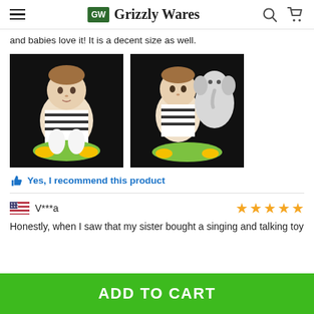Grizzly Wares
and babies love it! It is a decent size as well.
[Figure (photo): Two photos of a baby sitting in a colorful activity seat/bouncer toy with plush animals]
Yes, I recommend this product
V***a
Honestly, when I saw that my sister bought a singing and talking toy
ADD TO CART